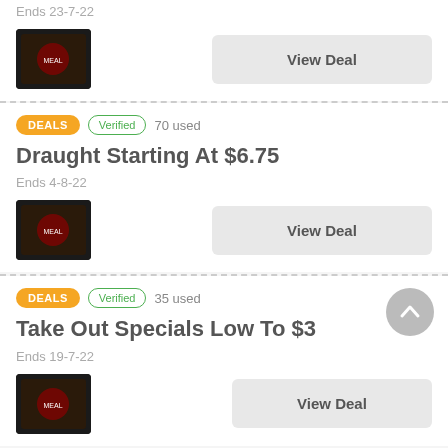Ends 23-7-22
View Deal
DEALS  Verified  70 used
Draught Starting At $6.75
Ends 4-8-22
View Deal
DEALS  Verified  35 used
Take Out Specials Low To $3
Ends 19-7-22
View Deal